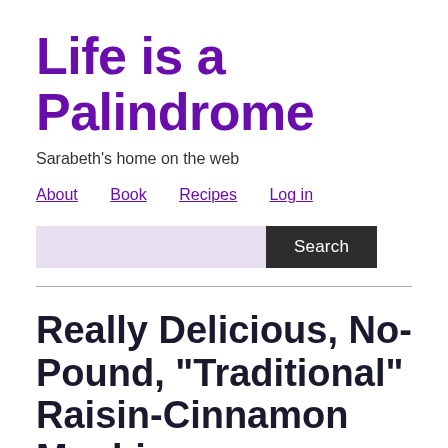Life is a Palindrome
Sarabeth's home on the web
About  Book  Recipes  Log in
[Figure (other): Search box with lavender input field and dark Search button]
Really Delicious, No-Pound, "Traditional" Raisin-Cinnamon Mochi